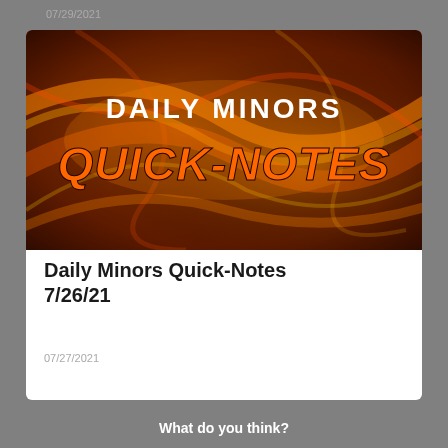07/29/2021
[Figure (illustration): Banner image with orange and dark swirling light streaks background. Text reads 'DAILY MINORS' in white bold font at top center, and 'Quick-Notes' in large orange stylized font below.]
Daily Minors Quick-Notes 7/26/21
07/27/2021
What do you think?